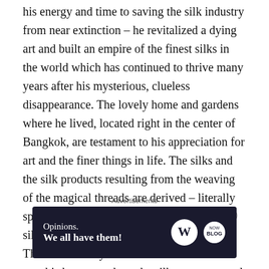his energy and time to saving the silk industry from near extinction – he revitalized a dying art and built an empire of the finest silks in the world which has continued to thrive many years after his mysterious, clueless disappearance. The lovely home and gardens where he lived, located right in the center of Bangkok, are testament to his appreciation for art and the finer things in life. The silks and the silk products resulting from the weaving of the magical threads are derived – literally spun – from the cocoons of the lowly silkworms on the Mulberry trees in the Thailand countryside. We were fortunate to tour his home, see how the silk was spun, and yes spend our money on a selection of the many colorful products resulting – fabrics
Advertisements
[Figure (other): Advertisement banner with dark navy background showing 'Opinions. We all have them!' text with WordPress logo and another circular logo on the right.]